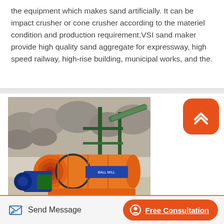the equipment which makes sand artificially. It can be impact crusher or cone crusher according to the materiel condition and production requirement.VSI sand maker provide high quality sand aggregate for expressway, high speed railway, high-rise building, municipal works, and the.
[Figure (photo): Industrial ball mill / grinding mill machinery installed outdoors at a quarry site, showing a large orange cylindrical drum mounted on an orange steel frame, with blue motor, green conveyor components, and rocky terrain visible in the background.]